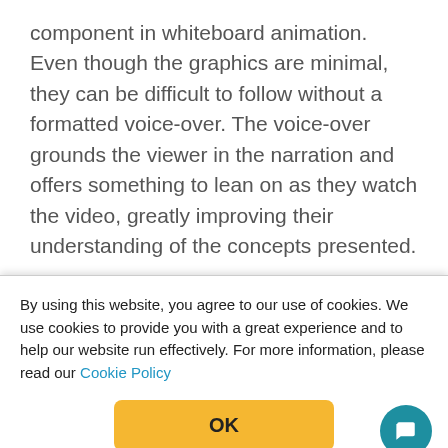component in whiteboard animation. Even though the graphics are minimal, they can be difficult to follow without a formatted voice-over. The voice-over grounds the viewer in the narration and offers something to lean on as they watch the video, greatly improving their understanding of the concepts presented.
By using this website, you agree to our use of cookies. We use cookies to provide you with a great experience and to help our website run effectively. For more information, please read our Cookie Policy
OK